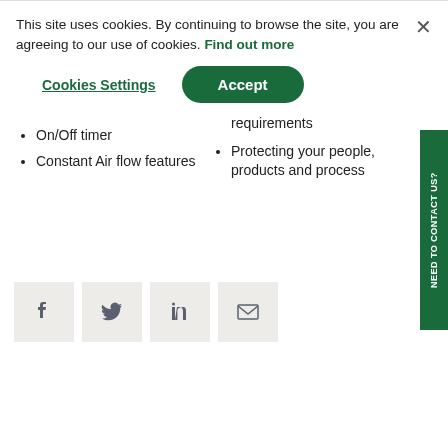molecular filtration options
spaces.
Easy to service
Touch Screen control
Pressure drop alarm
Silent performance
On/Off timer
Constant Air flow features
Dual Air Intake
Adaptable filter configurations
Designed for high airflow requirements
Protecting your people, products and process
[Figure (other): Social sharing icons: Facebook, Twitter, LinkedIn, Email]
NEED TO CONTACT US?
This site uses cookies. By continuing to browse the site, you are agreeing to our use of cookies. Find out more
Cookies Settings
Accept